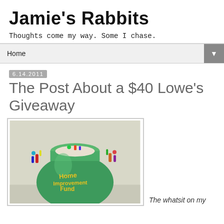Jamie's Rabbits
Thoughts come my way. Some I chase.
Home ▼
6.14.2011
The Post About a $40 Lowe's Giveaway
[Figure (photo): A green ceramic pot decorated with small colorful charms, with 'Home Improvement Fund' written on it in yellow letters.]
The whatsit on my